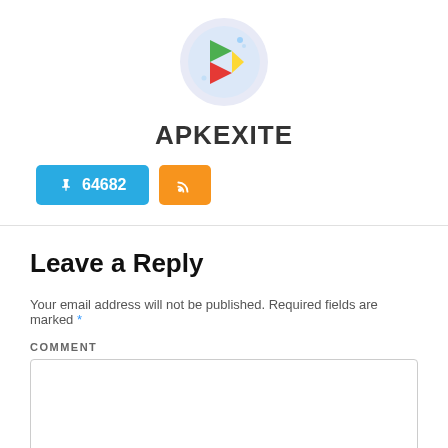[Figure (logo): Google Play Store logo in a light blue-purple circular background]
APKEXITE
📌 64682  [RSS icon]
Leave a Reply
Your email address will not be published. Required fields are marked *
COMMENT